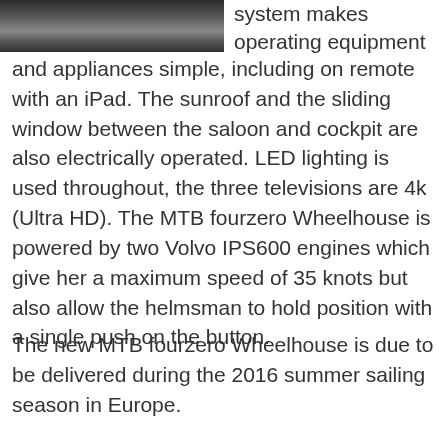[Figure (photo): Partial photo of water or boat exterior, dark tones, cropped at top of page]
system makes operating equipment and appliances simple, including on remote with an iPad. The sunroof and the sliding window between the saloon and cockpit are also electrically operated. LED lighting is used throughout, the three televisions are 4k (Ultra HD). The MTB fourzero Wheelhouse is powered by two Volvo IPS600 engines which give her a maximum speed of 35 knots but also allow the helmsman to hold position with a single push on the button.
The new MTB fourzero Wheelhouse is due to be delivered during the 2016 summer sailing season in Europe.